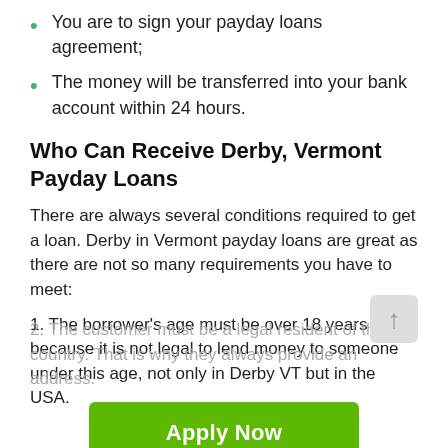You are to sign your payday loans agreement;
The money will be transferred into your bank account within 24 hours.
Who Can Receive Derby, Vermont Payday Loans
There are always several conditions required to get a loan. Derby in Vermont payday loans are great as there are not so many requirements you have to meet:
1. The borrower's age must be over 18 years because it is not legal to lend money to someone under this age, not only in Derby VT but in the USA.
2. The customer must be a legal resident of the country. That is why they always provide an address.
3. It is not a problem thanks to Payday Loans No Credit Check. At the same time, you are.